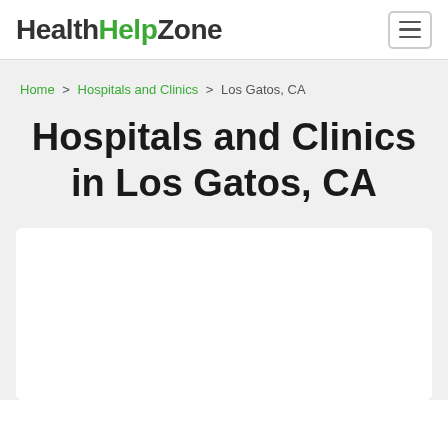HealthHelpZone
Home > Hospitals and Clinics > Los Gatos, CA
Hospitals and Clinics in Los Gatos, CA
[Figure (other): White content card area (advertisement or map placeholder)]